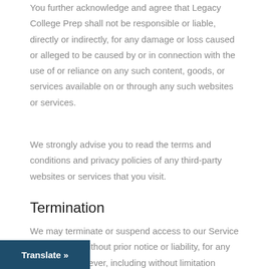You further acknowledge and agree that Legacy College Prep shall not be responsible or liable, directly or indirectly, for any damage or loss caused or alleged to be caused by or in connection with the use of or reliance on any such content, goods, or services available on or through any such websites or services.
We strongly advise you to read the terms and conditions and privacy policies of any third-party websites or services that you visit.
Termination
We may terminate or suspend access to our Service immediately, without prior notice or liability, for any reason whatsoever, including without limitation if Terms.